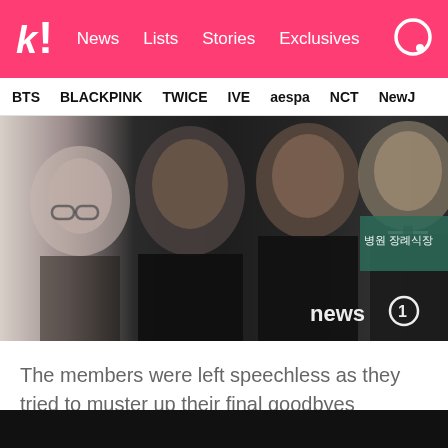k! News  Lists  Stories  Exclusives
BTS  BLACKPINK  TWICE  IVE  aespa  NCT  NewJ
[Figure (photo): Four men in black formal attire standing solemnly, likely at a funeral or memorial. A Korean sign is visible in the background. news1 watermark in bottom right.]
The members were left speechless as they tried to muster up their final goodbyes through tears.